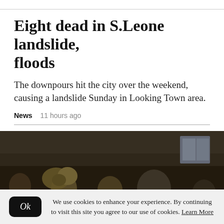Eight dead in S.Leone landslide, floods
The downpours hit the city over the weekend, causing a landslide Sunday in Looking Town area.
News   11 hours ago
[Figure (photo): Group of people, one speaking into a red microphone, crowded together in a dimly lit setting.]
We use cookies to enhance your experience. By continuing to visit this site you agree to our use of cookies. Learn More